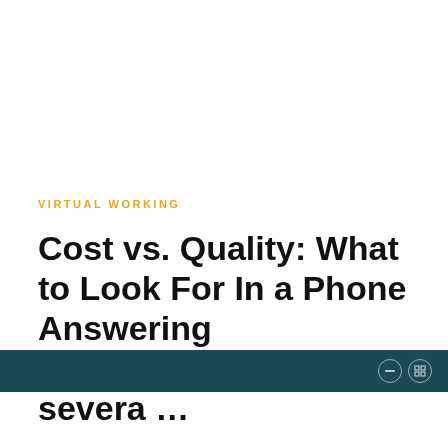VIRTUAL WORKING
Cost vs. Quality: What to Look For In a Phone Answering ServiceThere are severa …